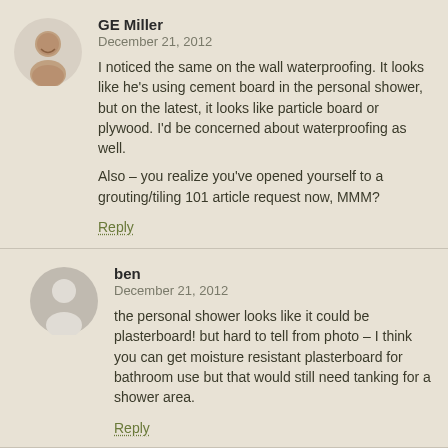GE Miller
December 21, 2012
I noticed the same on the wall waterproofing. It looks like he's using cement board in the personal shower, but on the latest, it looks like particle board or plywood. I'd be concerned about waterproofing as well.

Also – you realize you've opened yourself to a grouting/tiling 101 article request now, MMM?
Reply
ben
December 21, 2012
the personal shower looks like it could be plasterboard! but hard to tell from photo – I think you can get moisture resistant plasterboard for bathroom use but that would still need tanking for a shower area.
Reply
TK